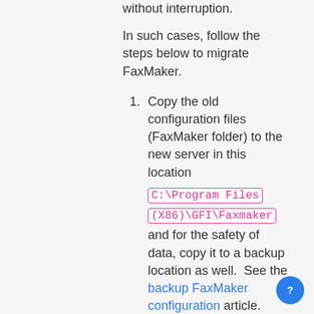without interruption.
In such cases, follow the steps below to migrate FaxMaker.
1. Copy the old configuration files (FaxMaker folder) to the new server in this location C:\Program Files (X86)\GFI\Faxmaker and for the safety of data, copy it to a backup location as well.  See the backup FaxMaker configuration article.
2. Migrate GFI Directory (if applicable).  Review the moving GFI Directory user list article.